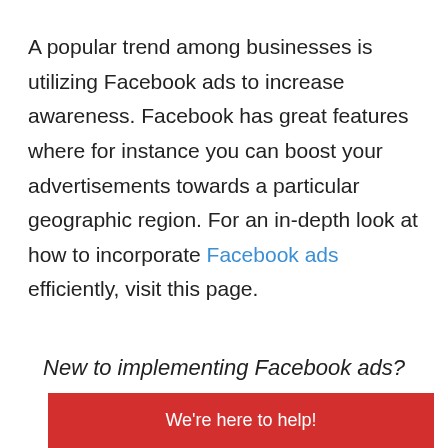A popular trend among businesses is utilizing Facebook ads to increase awareness. Facebook has great features where for instance you can boost your advertisements towards a particular geographic region. For an in-depth look at how to incorporate Facebook ads efficiently, visit this page.
New to implementing Facebook ads?
We're here to help!